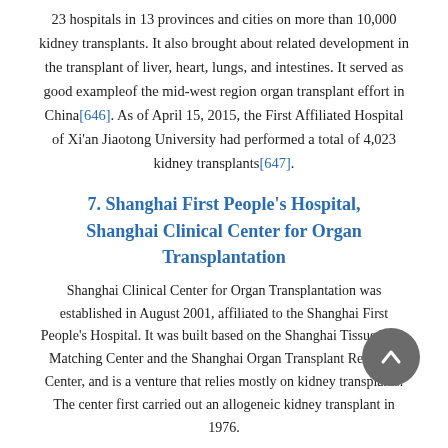23 hospitals in 13 provinces and cities on more than 10,000 kidney transplants. It also brought about related development in the transplant of liver, heart, lungs, and intestines. It served as good exampleof the mid-west region organ transplant effort in China[646]. As of April 15, 2015, the First Affiliated Hospital of Xi'an Jiaotong University had performed a total of 4,023 kidney transplants[647].
7. Shanghai First People's Hospital, Shanghai Clinical Center for Organ Transplantation
Shanghai Clinical Center for Organ Transplantation was established in August 2001, affiliated to the Shanghai First People's Hospital. It was built based on the Shanghai Tissue Type Matching Center and the Shanghai Organ Transplant Research Center, and is a venture that relies mostly on kidney transplants. The center first carried out an allogeneic kidney transplant in 1976.
The hospital claims that currently it carries out various kidney, heart and